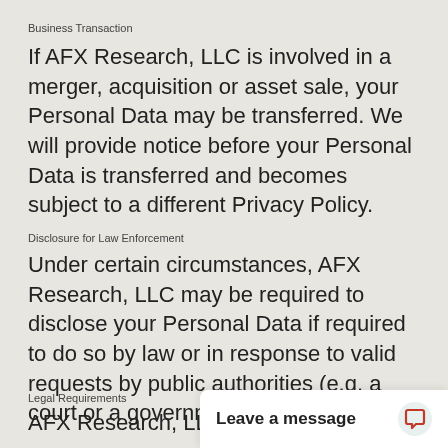Business Transaction
If AFX Research, LLC is involved in a merger, acquisition or asset sale, your Personal Data may be transferred. We will provide notice before your Personal Data is transferred and becomes subject to a different Privacy Policy.
Disclosure for Law Enforcement
Under certain circumstances, AFX Research, LLC may be required to disclose your Personal Data if required to do so by law or in response to valid requests by public authorities (e.g. a court or a government agency).
Legal Requirements
AFX Research, LLC ma... the good faith belief t...